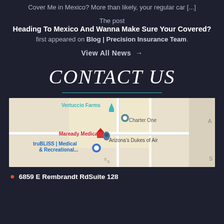Cover Me in Mexico? More than likely, your regular car [...]
The post
Heading To Mexico And Wanna Make Sure Your Covered?
first appeared on Blog | Precision Insurance Team.
View All News →
CONTACT US
[Figure (map): Google Maps screenshot showing Vertuccio Farms, Charter One, Maready Medical, truBLISS Medical & Recreational..., and Arizona's Dukes of Air location markers]
6859 E Rembrandt RdSuite 128